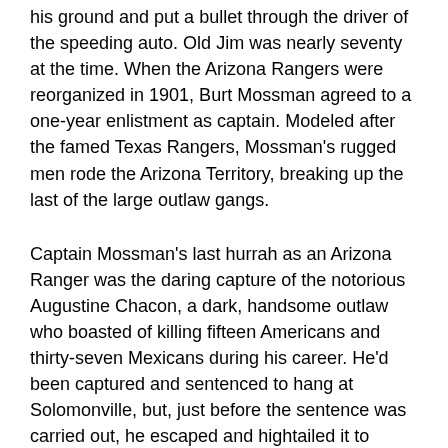his ground and put a bullet through the driver of the speeding auto. Old Jim was nearly seventy at the time. When the Arizona Rangers were reorganized in 1901, Burt Mossman agreed to a one-year enlistment as captain. Modeled after the famed Texas Rangers, Mossman's rugged men rode the Arizona Territory, breaking up the last of the large outlaw gangs.
Captain Mossman's last hurrah as an Arizona Ranger was the daring capture of the notorious Augustine Chacon, a dark, handsome outlaw who boasted of killing fifteen Americans and thirty-seven Mexicans during his career. He'd been captured and sentenced to hang at Solomonville, but, just before the sentence was carried out, he escaped and hightailed it to Sonora. Mossman persuaded Burt Alvord and Billy Stiles, two ex-lawmen turned outlaws, to arrange a meeting with Chacon in exchange for leniency. Posing as a rustler on the lam, Mossman got close enough to the cagey Chacon to get the drop on him. He brought back his man, and this time the hanging took place on schedule.